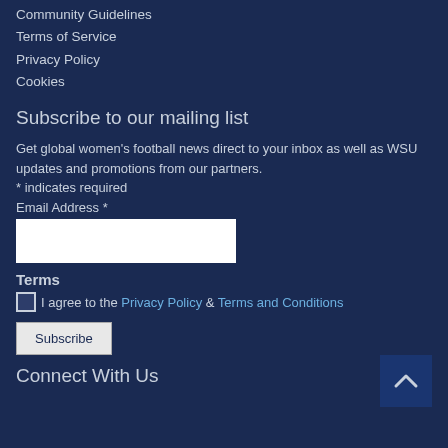Community Guidelines
Terms of Service
Privacy Policy
Cookies
Subscribe to our mailing list
Get global women's football news direct to your inbox as well as WSU updates and promotions from our partners.
* indicates required
Email Address *
Terms
I agree to the Privacy Policy & Terms and Conditions
Subscribe
Connect With Us